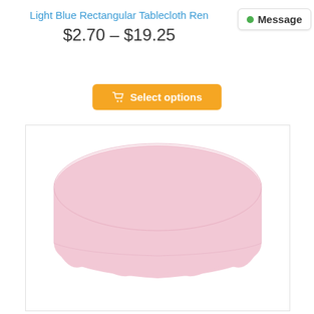Light Blue Rectangular Tablecloth Ren
$2.70 – $19.25
[Figure (other): Message button with green dot in top right corner]
[Figure (other): Orange 'Select options' button with shopping cart icon]
[Figure (photo): Pink round tablecloth draped over a round table, shown on a white background inside a bordered image frame]